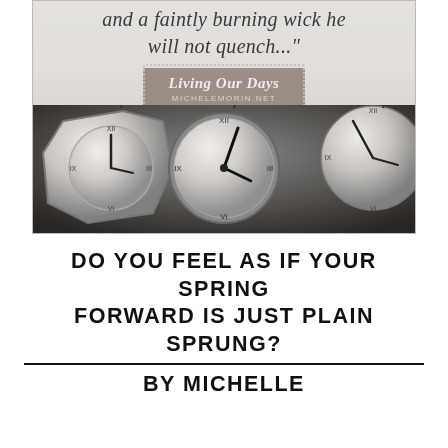[Figure (photo): Blog post header image showing a quote overlay on a light background at top reading 'and a faintly burning wick he will not quench...' with a 'Living Our Days / michelemorin.net' badge, over a photo of multiple analog clocks in the bottom half.]
DO YOU FEEL AS IF YOUR SPRING FORWARD IS JUST PLAIN SPRUNG? BY MICHELLE